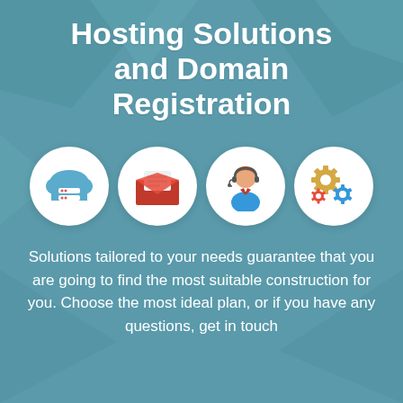Hosting Solutions and Domain Registration
[Figure (infographic): Four white circles in a row, each containing a flat icon: 1) Cloud with server/database stacks (blue), 2) Open envelope with mail (red/dark red), 3) Customer support person with headset, 4) Gear/cog settings icons (gold and blue)]
Solutions tailored to your needs guarantee that you are going to find the most suitable construction for you. Choose the most ideal plan, or if you have any questions, get in touch